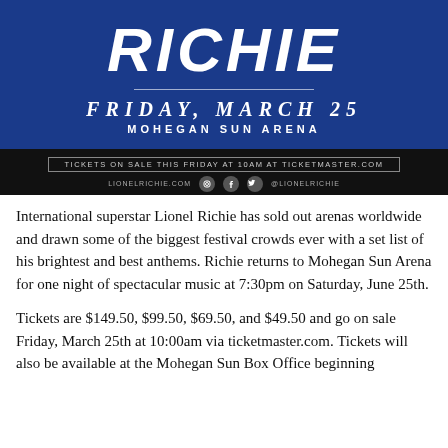[Figure (illustration): Concert promotional poster for Lionel Richie at Mohegan Sun Arena on Friday, March 25. Blue background with large white RICHIE text, date, venue name, ticket sale info, and social media handles on black background.]
International superstar Lionel Richie has sold out arenas worldwide and drawn some of the biggest festival crowds ever with a set list of his brightest and best anthems. Richie returns to Mohegan Sun Arena for one night of spectacular music at 7:30pm on Saturday, June 25th.
Tickets are $149.50, $99.50, $69.50, and $49.50 and go on sale Friday, March 25th at 10:00am via ticketmaster.com. Tickets will also be available at the Mohegan Sun Box Office beginning